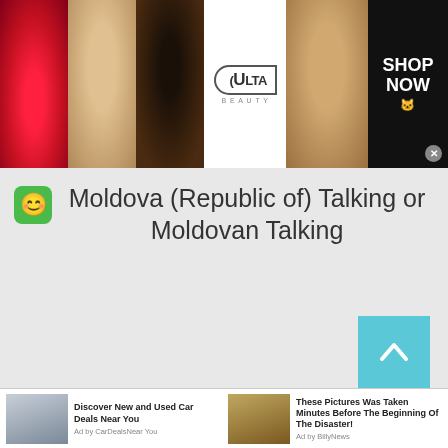[Figure (photo): Ulta Beauty banner advertisement with makeup images (lips, brush, eyes) and 'SHOP NOW' button]
Moldova (Republic of) Talking or Moldovan Talking
[Figure (other): Scroll-to-top button (cyan/teal background with upward chevron arrow)]
[Figure (photo): Two bottom ad thumbnails: 'Discover New and Used Car Deals Near You' by CarDealsNearYou, and 'These Pictures Was Taken Minutes Before The Beginning Of The Disaster!' by BillyNews]